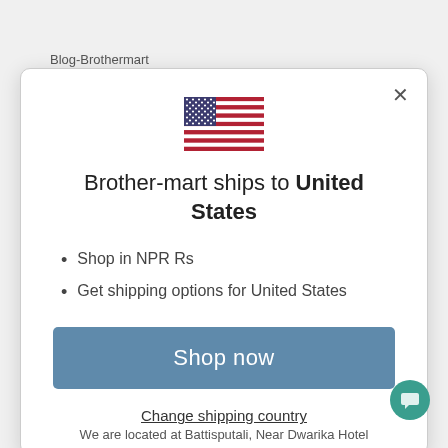Blog - Brothermart
[Figure (illustration): US flag icon]
Brother-mart ships to United States
Shop in NPR Rs
Get shipping options for United States
Shop now
Change shipping country
We are located at Battisputali, Near Dwarika Hotel